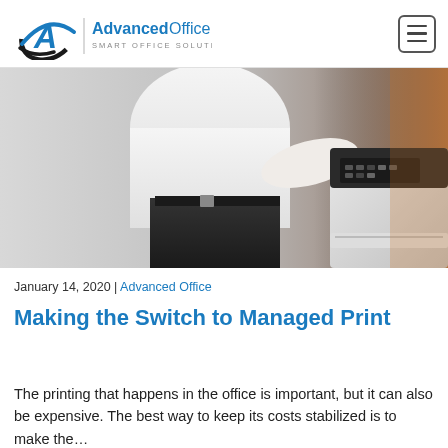[Figure (logo): Advanced Office logo — blue italic A symbol with swoosh, followed by 'Advanced Office' in blue bold and 'SMART OFFICE SOLUTIONS' in gray below]
[Figure (photo): Person in white shirt and dark pants operating the control panel of a large office printer/copier, viewed from the side]
January 14, 2020 | Advanced Office
Making the Switch to Managed Print
The printing that happens in the office is important, but it can also be expensive. The best way to keep its costs stabilized is to make the…